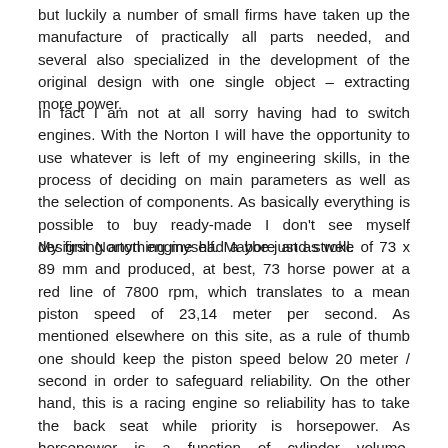but luckily a number of small firms have taken up the manufacture of practically all parts needed, and several also specialized in the development of the original design with one single object – extracting more power.
In fact I am not at all sorry having had to switch engines. With the Norton I will have the opportunity to use whatever is left of my engineering skills, in the process of deciding on main parameters as well as the selection of components. As basically everything is possible to buy ready-made I don't see myself designing anything myself. Maybe just as well.
My first Norton engine had a bore and stroke of 73 x 89 mm and produced, at best, 73 horse power at a red line of 7800 rpm, which translates to a mean piston speed of 23,14 meter per second. As mentioned elsewhere on this site, as a rule of thumb one should keep the piston speed below 20 meter / second in order to safeguard reliability. On the other hand, this is a racing engine so reliability has to take the back seat while priority is horsepower. As horsepower is a function of cylinder volume, volumetric efficiency, compression ratio and rotating speed, one of the things we have to push is rotating speed. Cutting the stroke from 89 to 80,4 will allow the red line to be increased to 8500 and still keeping the piston speed below 23 m/s. A shorter stroke, 80,4 mm, means that the bore can be increased to 77 mm and still be within the maximum 750 cc